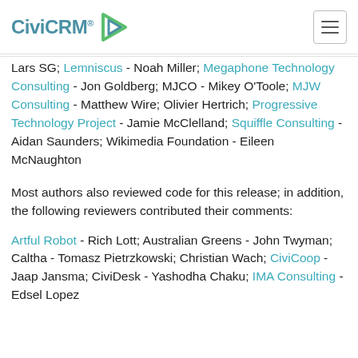CiviCRM logo and navigation
Lars SG; Lemniscus - Noah Miller; Megaphone Technology Consulting - Jon Goldberg; MJCO - Mikey O'Toole; MJW Consulting - Matthew Wire; Olivier Hertrich; Progressive Technology Project - Jamie McClelland; Squiffle Consulting - Aidan Saunders; Wikimedia Foundation - Eileen McNaughton
Most authors also reviewed code for this release; in addition, the following reviewers contributed their comments:
Artful Robot - Rich Lott; Australian Greens - John Twyman; Caltha - Tomasz Pietrzkowski; Christian Wach; CiviCoop - Jaap Jansma; CiviDesk - Yashodha Chaku; IMA Consulting - Edsel Lopez